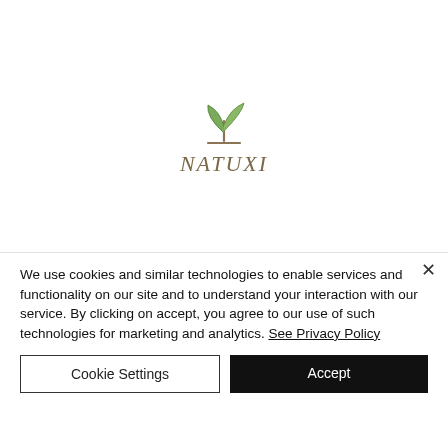[Figure (logo): Natuxi brand logo with a green plant sprout icon above the handwritten-style text 'NATUXI' in brown/taupe color]
We use cookies and similar technologies to enable services and functionality on our site and to understand your interaction with our service. By clicking on accept, you agree to our use of such technologies for marketing and analytics. See Privacy Policy
Cookie Settings
Accept